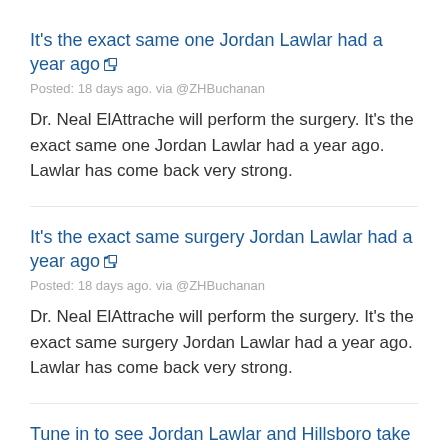It's the exact same one Jordan Lawlar had a year ago
Posted: 18 days ago. via @ZHBuchanan
Dr. Neal ElAttrache will perform the surgery. It's the exact same one Jordan Lawlar had a year ago. Lawlar has come back very strong.
It's the exact same surgery Jordan Lawlar had a year ago
Posted: 18 days ago. via @ZHBuchanan
Dr. Neal ElAttrache will perform the surgery. It's the exact same surgery Jordan Lawlar had a year ago. Lawlar has come back very strong.
Tune in to see Jordan Lawlar and Hillsboro take on Luis Matos and Eugene for FREE: